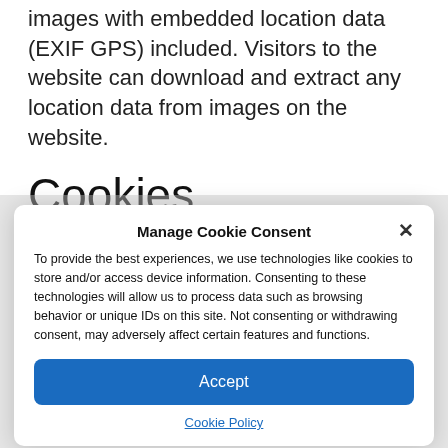images with embedded location data (EXIF GPS) included. Visitors to the website can download and extract any location data from images on the website.
Cookies
[Figure (screenshot): Cookie consent modal dialog with title 'Manage Cookie Consent', a close (×) button, explanatory text about cookies and data processing, an 'Accept' button, and a 'Cookie Policy' link.]